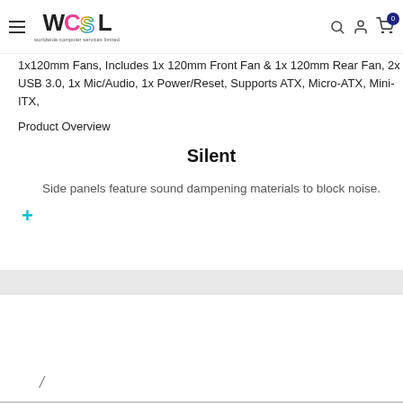WCSL — worldwide computer services limited
1x120mm Fans, Includes 1x 120mm Front Fan & 1x 120mm Rear Fan, 2x USB 3.0, 1x Mic/Audio, 1x Power/Reset, Supports ATX, Micro-ATX, Mini-ITX,
Product Overview
Silent
Side panels feature sound dampening materials to block noise.
+